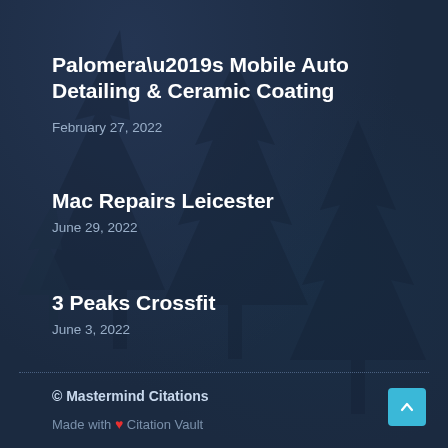Palomera’s Mobile Auto Detailing & Ceramic Coating
February 27, 2022
Mac Repairs Leicester
June 29, 2022
3 Peaks Crossfit
June 3, 2022
© Mastermind Citations
Made with ♥ Citation Vault